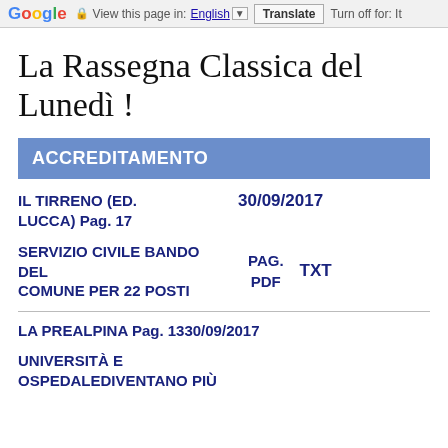Google  View this page in: English [▼]  Translate  Turn off for: It
La Rassegna Classica del Lunedì !
ACCREDITAMENTO
IL TIRRENO (ED. LUCCA) Pag. 17   30/09/2017
SERVIZIO CIVILE BANDO DEL COMUNE PER 22 POSTI   PAG. PDF   TXT
LA PREALPINA Pag. 1330/09/2017
UNIVERSITÀ E OSPEDALEDIVENTANO PIÙ